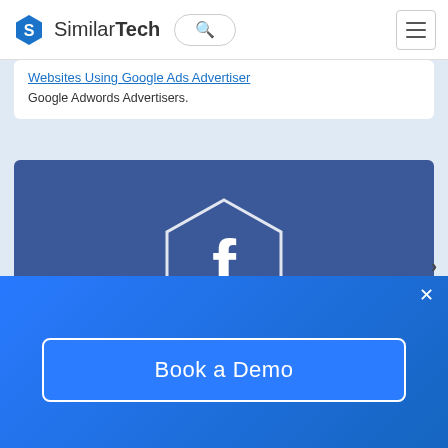SimilarTech
Websites Using Google Ads Advertiser
Google Adwords Advertisers.
[Figure (logo): Facebook logo inside a hexagon outline on a blue background]
Facebook Advertiser
Websites Using Facebook Advertiser
Facebook Ads Advertisers.
Book a Demo